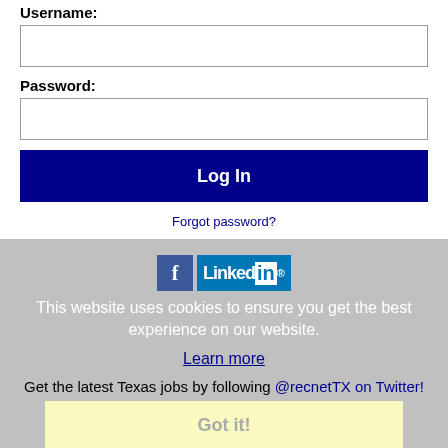Username:
Password:
Log In
Forgot password?
This website uses cookies to ensure you get the best experience on our website.
Learn more
Get the latest Texas jobs by following @recnetTX on Twitter!
Got it!
Richardson RSS job feeds